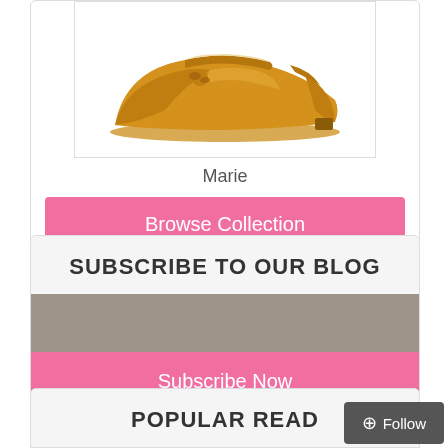[Figure (photo): A mustard/golden yellow flat shoe (ballet flat style) with mesh detailing, viewed from the side]
Marie
Browse Collection
SUBSCRIBE TO OUR BLOG
Subscribe Now
POPULAR READ
Follow